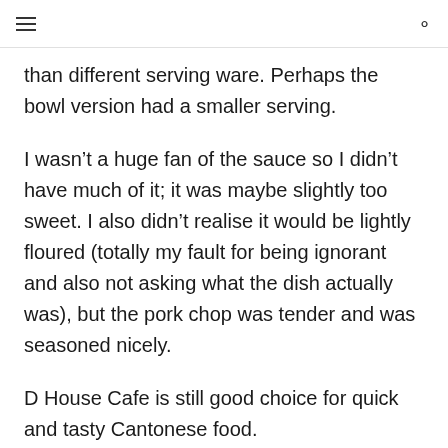≡  ○
than different serving ware. Perhaps the bowl version had a smaller serving.
I wasn't a huge fan of the sauce so I didn't have much of it; it was maybe slightly too sweet. I also didn't realise it would be lightly floured (totally my fault for being ignorant and also not asking what the dish actually was), but the pork chop was tender and was seasoned nicely.
D House Cafe is still good choice for quick and tasty Cantonese food.